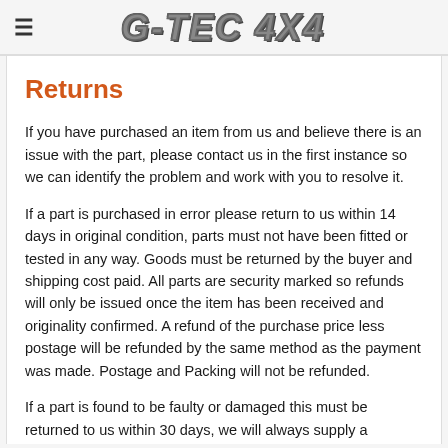G-TEC 4X4
Returns
If you have purchased an item from us and believe there is an issue with the part, please contact us in the first instance so we can identify the problem and work with you to resolve it.
If a part is purchased in error please return to us within 14 days in original condition, parts must not have been fitted or tested in any way. Goods must be returned by the buyer and shipping cost paid. All parts are security marked so refunds will only be issued once the item has been received and originality confirmed. A refund of the purchase price less postage will be refunded by the same method as the payment was made. Postage and Packing will not be refunded.
If a part is found to be faulty or damaged this must be returned to us within 30 days, we will always supply a